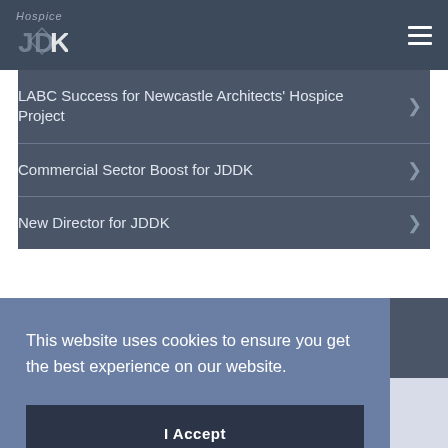JDK (logo) - Hospice
LABC Success for Newcastle Architects' Hospice Project
Commercial Sector Boost for JDDK
New Director for JDDK
Millmount News
This website uses cookies to ensure you get the best experience on our website.
I Accept